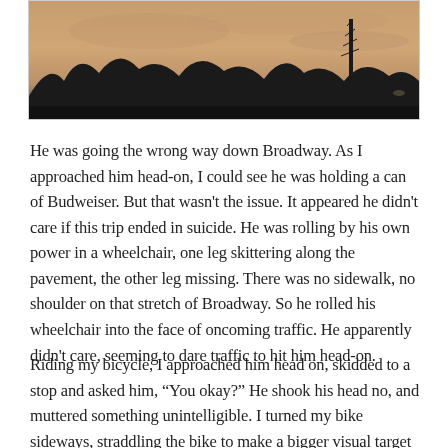[Figure (photo): A dark silhouette landscape photo showing trees and a communications tower against a dusky orange-pink sky, cropped at the top of the page.]
He was going the wrong way down Broadway. As I approached him head-on, I could see he was holding a can of Budweiser. But that wasn't the issue. It appeared he didn't care if this trip ended in suicide. He was rolling by his own power in a wheelchair, one leg skittering along the pavement, the other leg missing. There was no sidewalk, no shoulder on that stretch of Broadway. So he rolled his wheelchair into the face of oncoming traffic. He apparently didn't care, seeming to dare traffic to hit him head-on.
Riding my bicycle, I approached him head on, skidded to a stop and asked him, “You okay?” He shook his head no, and muttered something unintelligible. I turned my bike sideways, straddling the bike to make a bigger visual target